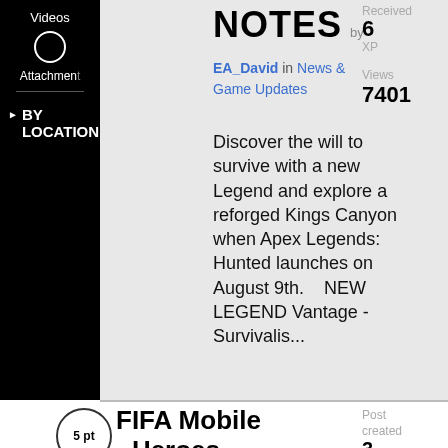Videos
Attachments
▶ BY LOCATION
NOTES
by
EA_David in News & Game Updates
Received
6
XP
Views
7401
Discover the will to survive with a new Legend and explore a reforged Kings Canyon when Apex Legends: Hunted launches on August 9th.    NEW LEGEND Vantage - Survivalis...
FIFA Mobile Heroes
5 pt
Post created
3
weeks